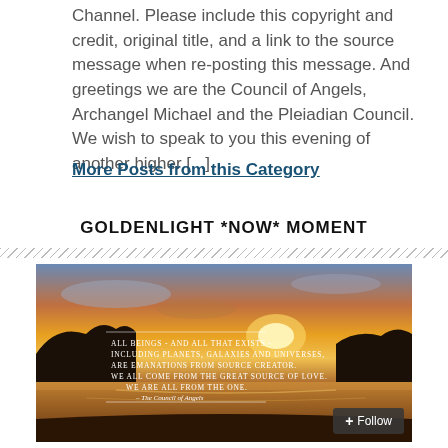Channel. Please include this copyright and credit, original title, and a link to the source message when re-posting this message. And greetings we are the Council of Angels, Archangel Michael and the Pleiadian Council. We wish to speak to you this evening of another higher [...]
More Posts from this Category
GOLDENLIGHT *NOW* MOMENT
[Figure (photo): Sunset beach photo with white text overlay quote: 'All beings - and all that exists - including planets, galaxies and universes, are emanations from Source Creator. We all come from the great source of love. We are all from the One. – The Council of Angels']